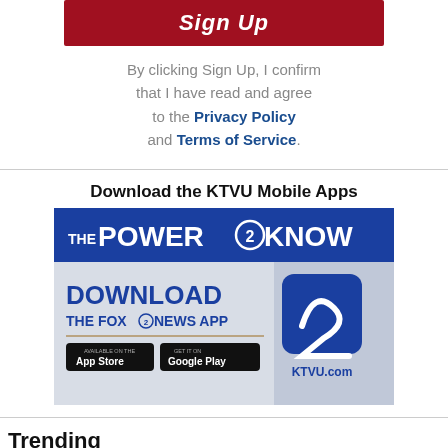Sign Up
By clicking Sign Up, I confirm that I have read and agree to the Privacy Policy and Terms of Service.
Download the KTVU Mobile Apps
[Figure (screenshot): KTVU Fox 2 app download banner with 'THE POWER 2 KNOW' header, text 'DOWNLOAD THE FOX 2 NEWS APP', App Store and Google Play buttons, and KTVU.com logo]
Trending
Oklahoma deputy shot, killed while